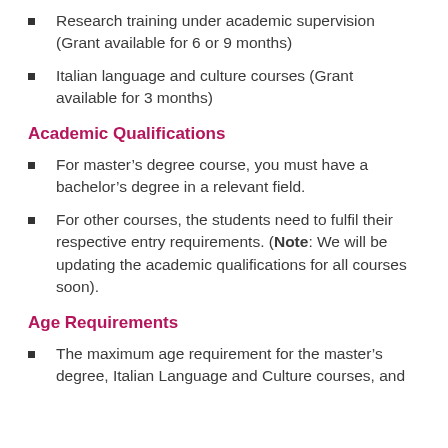Research training under academic supervision (Grant available for 6 or 9 months)
Italian language and culture courses (Grant available for 3 months)
Academic Qualifications
For master's degree course, you must have a bachelor's degree in a relevant field.
For other courses, the students need to fulfil their respective entry requirements. (Note: We will be updating the academic qualifications for all courses soon).
Age Requirements
The maximum age requirement for the master's degree, Italian Language and Culture courses, and